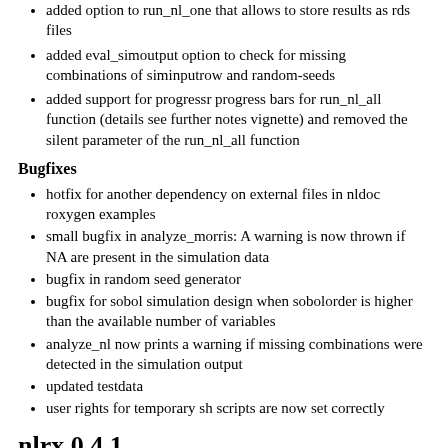added option to run_nl_one that allows to store results as rds files
added eval_simoutput option to check for missing combinations of siminputrow and random-seeds
added support for progressr progress bars for run_nl_all function (details see further notes vignette) and removed the silent parameter of the run_nl_all function
Bugfixes
hotfix for another dependency on external files in nldoc roxygen examples
small bugfix in analyze_morris: A warning is now thrown if NA are present in the simulation data
bugfix in random seed generator
bugfix for sobol simulation design when sobolorder is higher than the available number of variables
analyze_nl now prints a warning if missing combinations were detected in the simulation output
updated testdata
user rights for temporary sh scripts are now set correctly
nlrx 0.4.1
fixed dependency on external file source in nldoc automated